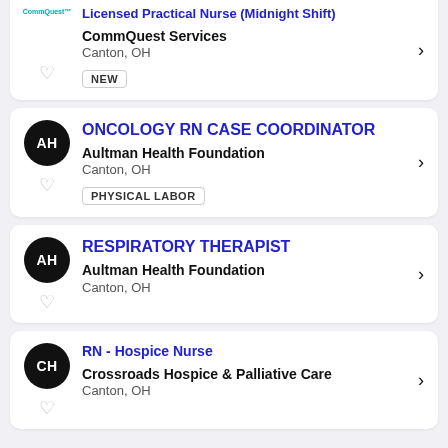Licensed Practical Nurse (Midnight Shift) - CommQuest Services - Canton, OH - NEW
ONCOLOGY RN CASE COORDINATOR - Aultman Health Foundation - Canton, OH - PHYSICAL LABOR
RESPIRATORY THERAPIST - Aultman Health Foundation - Canton, OH
RN - Hospice Nurse - Crossroads Hospice & Palliative Care - Canton, OH